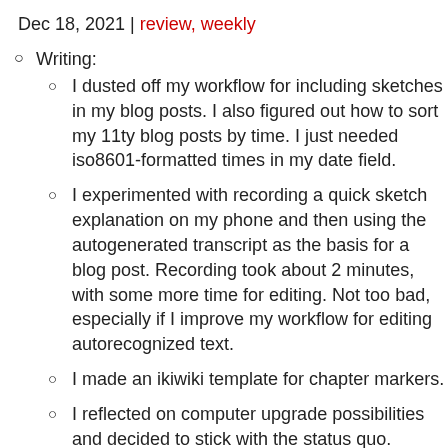Dec 18, 2021 | review, weekly
Writing:
I dusted off my workflow for including sketches in my blog posts. I also figured out how to sort my 11ty blog posts by time. I just needed iso8601-formatted times in my date field.
I experimented with recording a quick sketch explanation on my phone and then using the autogenerated transcript as the basis for a blog post. Recording took about 2 minutes, with some more time for editing. Not too bad, especially if I improve my workflow for editing autorecognized text.
I made an ikiwiki template for chapter markers.
I reflected on computer upgrade possibilities and decided to stick with the status quo.